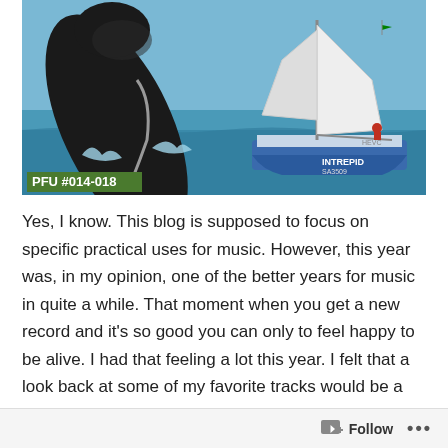[Figure (photo): A large black and white whale breaching out of the ocean water next to a blue sailboat named 'INTREPID' (registration SA3509). The whale is leaping high out of the water on the left side. A person in red can be seen on the boat. Label 'PFU #014-018' appears in the bottom left corner of the photo.]
Yes, I know. This blog is supposed to focus on specific practical uses for music. However, this year was, in my opinion, one of the better years for music in quite a while. That moment when you get a new record and it's so good you can only to feel happy to be alive. I had that feeling a lot this year. I felt that a look back at some of my favorite tracks would be a solid enough use to warrant a post.